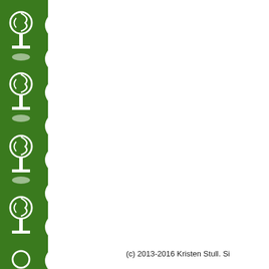[Figure (illustration): Green vertical border on the left side of the page featuring repeating white decorative tree/plant motifs and swirl patterns on a dark green background with wavy white edges on the right side of the border.]
(c) 2013-2016 Kristen Stull. Si